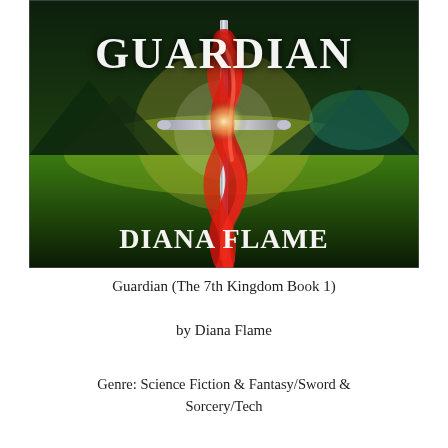[Figure (illustration): Book cover for 'Guardian' by Diana Flame. Dark fantasy/sci-fi cover showing a sword entwined with a red flowing cloth or serpent against a dark green landscape background with mountains. Title 'GUARDIAN' in large white serif text at top, author name 'DIANA FLAME' in large white serif text at bottom of cover image.]
Guardian (The 7th Kingdom Book 1)
by Diana Flame
Genre: Science Fiction & Fantasy/Sword & Sorcery/Tech